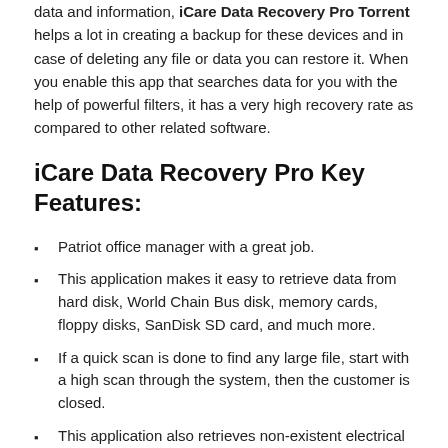data and information, iCare Data Recovery Pro Torrent helps a lot in creating a backup for these devices and in case of deleting any file or data you can restore it. When you enable this app that searches data for you with the help of powerful filters, it has a very high recovery rate as compared to other related software.
iCare Data Recovery Pro Key Features:
Patriot office manager with a great job.
This application makes it easy to retrieve data from hard disk, World Chain Bus disk, memory cards, floppy disks, SanDisk SD card, and much more.
If a quick scan is done to find any large file, start with a high scan through the system, then the customer is closed.
This application also retrieves non-existent electrical solutions.